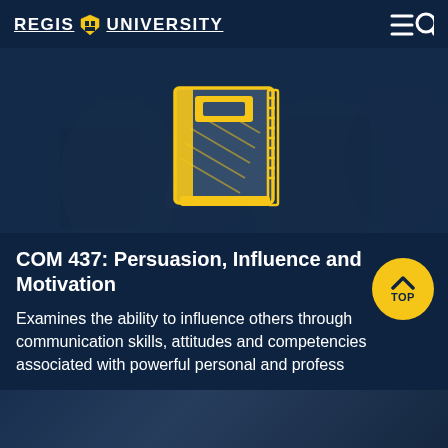REGIS UNIVERSITY
[Figure (illustration): Hero image with dark navy overlay showing blurred people in background, with a yellow outlined book icon centered in the image]
COM 437: Persuasion, Influence and Motivation
Examines the ability to influence others through communication skills, attitudes and competencies associated with powerful personal and professional persuasion.
[Figure (illustration): Yellow circular TOP button with upward chevron arrow and TOP text]